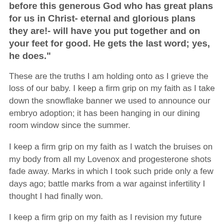before this generous God who has great plans for us in Christ- eternal and glorious plans they are!- will have you put together and on your feet for good. He gets the last word; yes, he does."
These are the truths I am holding onto as I grieve the loss of our baby. I keep a firm grip on my faith as I take down the snowflake banner we used to announce our embryo adoption; it has been hanging in our dining room window since the summer.
I keep a firm grip on my faith as I watch the bruises on my body from all my Lovenox and progesterone shots fade away. Marks in which I took such pride only a few days ago; battle marks from a war against infertility I thought I had finally won.
I keep a firm grip on my faith as I revision my future with sadness. A summer I pictured enjoying with a growing belly. A summer I should have been into the third trimester.